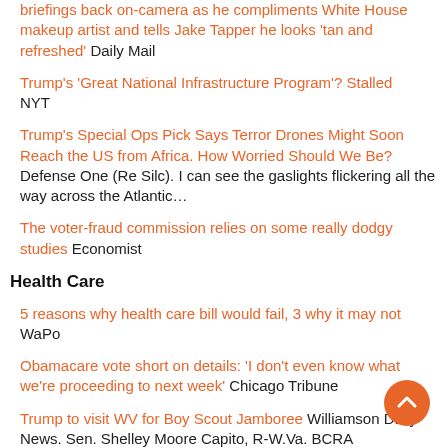briefings back on-camera as he compliments White House makeup artist and tells Jake Tapper he looks 'tan and refreshed' Daily Mail
Trump's 'Great National Infrastructure Program'? Stalled NYT
Trump's Special Ops Pick Says Terror Drones Might Soon Reach the US from Africa. How Worried Should We Be? Defense One (Re Silc). I can see the gaslights flickering all the way across the Atlantic…
The voter-fraud commission relies on some really dodgy studies Economist
Health Care
5 reasons why health care bill would fail, 3 why it may not WaPo
Obamacare vote short on details: 'I don't even know what we're proceeding to next week' Chicago Tribune
Trump to visit WV for Boy Scout Jamboree Williamson Daily News. Sen. Shelley Moore Capito, R-W.Va. BCRA